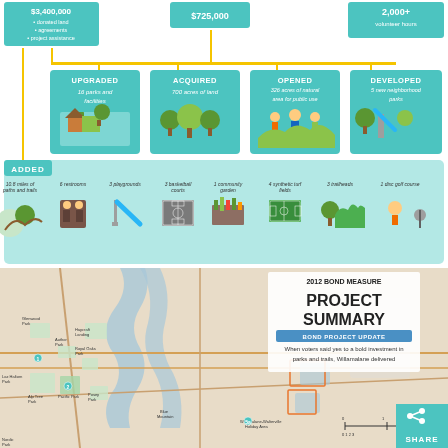[Figure (infographic): Parks bond measure infographic showing funding sources ($3,400,000 donated land, agreements, project assistance; $725,000; 2,000+ volunteer hours) connected by yellow lines to four outcome boxes: UPGRADED 16 parks and facilities, ACQUIRED 700 acres of land, OPENED 326 acres of natural area for public use, DEVELOPED 5 new neighborhood parks. Below is ADDED section with 10.8 miles of paths and trails, 6 restrooms, 3 playgrounds, 3 basketball courts, 1 community garden, 4 synthetic turf fields, 3 trailheads, 1 disc golf course.]
[Figure (map): 2012 Bond Measure Project Summary map of Willamalane park district showing parks and trails. Overlay text reads: 2012 BOND MEASURE PROJECT SUMMARY - BOND PROJECT UPDATE - When voters said yes to a bold investment in parks and trails, Willamalane delivered.]